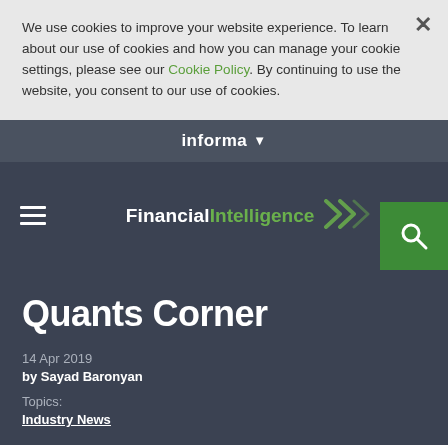We use cookies to improve your website experience.  To learn about our use of cookies and how you can manage your cookie settings, please see our Cookie Policy.  By continuing to use the website, you consent to our use of cookies.
informa
Financial Intelligence
Quants Corner
14 Apr 2019
by Sayad Baronyan
Topics:
Industry News